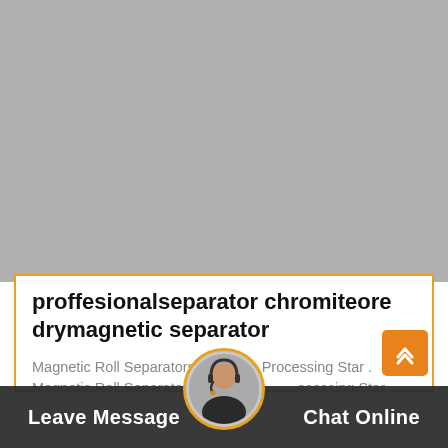[Figure (photo): Gray placeholder image area for product photo of chromite ore dry magnetic separator]
proffesionalseparator chromiteore drymagnetic separator
Magnetic Roll Separators Chromite Processing Star . Magnetic Roll Separators for Chromite Processing Star Trace offers turnkey solutions for Chromite ore processing plants. We are
Leave Message  Chat Online